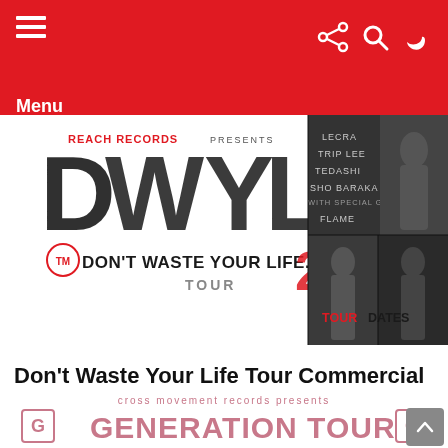Menu
[Figure (photo): Don't Waste Your Life Tour 2009 promotional banner by Reach Records featuring artists including Trip Lee, Tedashii, Sho Baraka, Flame, and others. Shows tour logo DWYL with artists in black and white photos. Red text says TOUR DATES.]
NEWS
Don't Waste Your Life Tour Commercial + Dates
[Figure (photo): Cross Movement Records presents Generation Tour logo in pink/red text on white background.]